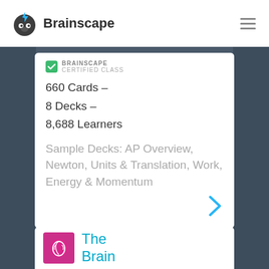[Figure (logo): Brainscape logo with sloth icon and brand name]
BRAINSCAPE CERTIFIED CLASS
660 Cards –
8 Decks –
8,688 Learners
Sample Decks: AP Overview, Newton, Units & Translation, Work, Energy & Momentum
[Figure (illustration): Partial view of second card with pink brain icon and title 'The Brain']